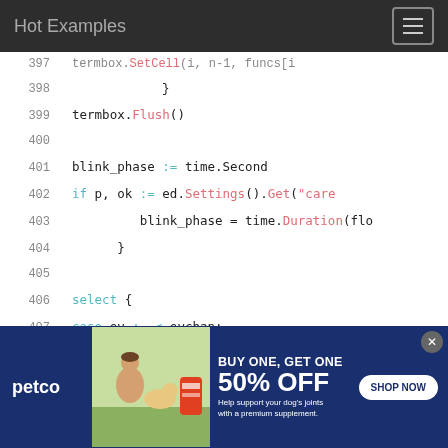Hot Examples
[Figure (screenshot): Code viewer showing Go source code lines 397-412 with syntax highlighting. Line numbers on left, code on right. Keywords in blue/cyan, method names in pink/red.]
[Figure (other): Petco advertisement banner: BUY ONE, GET ONE 50% OFF – Help support your dog's joints with a premium supplement. SHOP NOW button.]